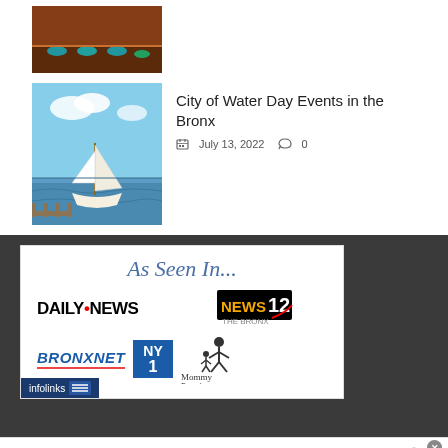[Figure (photo): Restaurant/bar interior with chairs and warm lighting — partially visible at top]
[Figure (photo): Sailboat on open water under blue sky]
City of Water Day Events in the Bronx
July 13, 2022  0
[Figure (infographic): As Seen In... promotional panel showing logos: Daily News, News 12 The Bronx, BronxNet, NY1, Mommy Poppins]
[Figure (photo): MAC cosmetics advertisement banner with lipsticks and SHOP NOW button]
infolinks